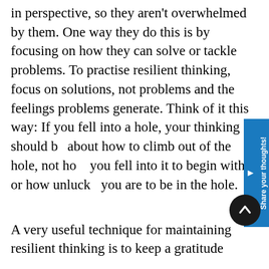in perspective, so they aren't overwhelmed by them. One way they do this is by focusing on how they can solve or tackle problems. To practise resilient thinking, focus on solutions, not problems and the feelings problems generate. Think of it this way: If you fell into a hole, your thinking should be about how to climb out of the hole, not how you fell into it to begin with or how unlucky you are to be in the hole.
A very useful technique for maintaining resilient thinking is to keep a gratitude